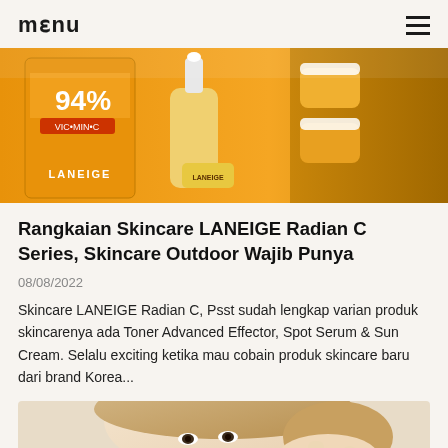menu
[Figure (photo): Orange and gold LANEIGE skincare product bottles with dropper, showing 94% text on packaging]
Rangkaian Skincare LANEIGE Radian C Series, Skincare Outdoor Wajib Punya
08/08/2022
Skincare LANEIGE Radian C, Psst sudah lengkap varian produk skincarenya ada Toner Advanced Effector, Spot Serum & Sun Cream. Selalu exciting ketika mau cobain produk skincare baru dari brand Korea...
[Figure (photo): Close-up of a young woman with light hair touching her face gently, skincare model photo]